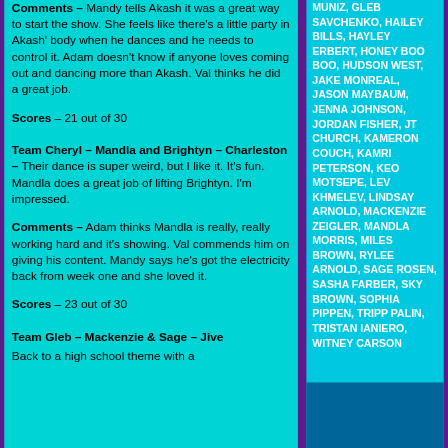Comments – Mandy tells Akash it was a great way to start the show. She feels like there's a little party in Akash' body when he dances and he needs to control it. Adam doesn't know if anyone loves coming out and dancing more than Akash. Val thinks he did a great job.
Scores – 21 out of 30
Team Cheryl – Mandla and Brightyn – Charleston – Their dance is super weird, but I like it. It's fun. Mandla does a great job of lifting Brightyn. I'm impressed.
Comments – Adam thinks Mandla is really, really working hard and it's showing. Val commends him on giving his content. Mandy says he's got the electricity back from week one and she loved it.
Scores – 23 out of 30
Team Gleb – Mackenzie & Sage – Jive – Back to a high school theme with a
MUNIZ, GLEB SAVCHENKO, HAILEY BILLS, HAYLEY ERBERT, HONEY BOO BOO, HUDSON WEST, JAKE MONREAL, JASON MAYBAUM, JENNA JOHNSON, JORDAN FISHER, JT CHURCH, KAMERON COUCH, KAMRI PETERSON, KEO MOTSEPE, LEV KHMELEV, LINDSAY ARNOLD, MACKENZIE ZEIGLER, MANDLA MORRIS, MILES BROWN, RYLEE ARNOLD, SAGE ROSEN, SASHA FARBER, SKY BROWN, SOPHIA PIPPEN, TRIPP PALIN, TRISTAN IANIERO, WITNEY CARSON